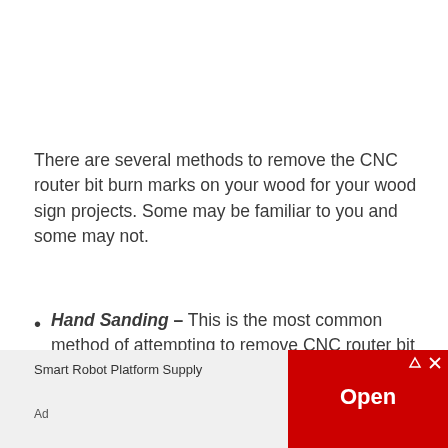There are several methods to remove the CNC router bit burn marks on your wood for your wood sign projects. Some may be familiar to you and some may not.
Hand Sanding – This is the most common method of attempting to remove CNC router bit burn marks. Using sandpaper or a block starting with an 80 grit you can work slowly with the grain. The grain is what you want...